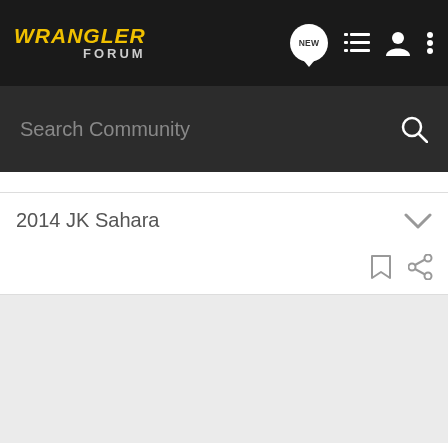WRANGLER FORUM
Search Community
2014 JK Sahara